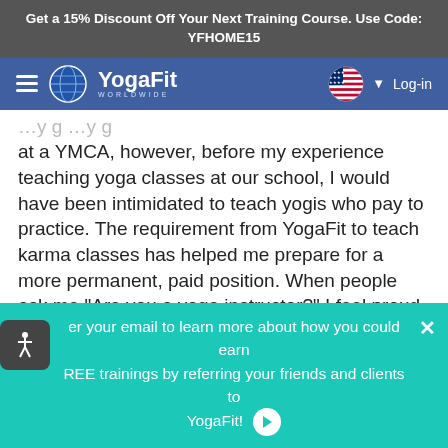Get a 15% Discount Off Your Next Training Course. Use Code: YFHOME15
[Figure (logo): YogaFit Worldwide logo with navigation bar including hamburger menu, globe icon, US flag, and Log-in link]
at a YMCA, however, before my experience teaching yoga classes at our school, I would have been intimidated to teach yogis who pay to practice. The requirement from YogaFit to teach karma classes has helped me prepare for a more permanent, paid position. When people ask me "Are you a yoga instructor?" I feel proud to answer "Yes, I am!", no matter how few participants I have, or the fact that my name isn't on a payroll yet, I still can confidently
er your email to learn more about how you could earn REE trainings by referring your friends and clients to YogaFit!